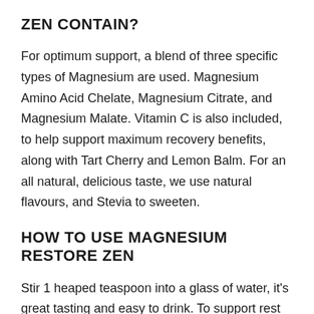ZEN CONTAIN?
For optimum support, a blend of three specific types of Magnesium are used. Magnesium Amino Acid Chelate, Magnesium Citrate, and Magnesium Malate. Vitamin C is also included, to help support maximum recovery benefits, along with Tart Cherry and Lemon Balm. For an all natural, delicious taste, we use natural flavours, and Stevia to sweeten.
HOW TO USE MAGNESIUM RESTORE ZEN
Stir 1 heaped teaspoon into a glass of water, it's great tasting and easy to drink. To support rest and